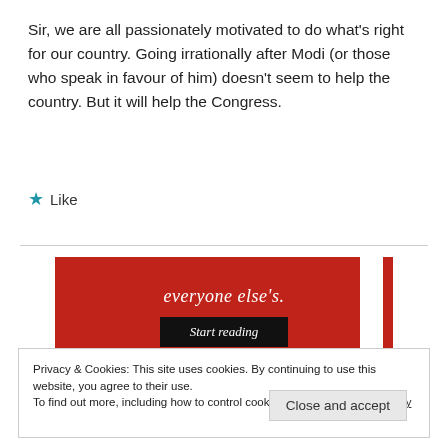Sir, we are all passionately motivated to do what's right for our country. Going irrationally after Modi (or those who speak in favour of him) doesn't seem to help the country. But it will help the Congress.
★ Like
[Figure (other): Red advertisement banner with italic serif text 'everyone else's.' and a dark button labeled 'Start reading']
Privacy & Cookies: This site uses cookies. By continuing to use this website, you agree to their use.
To find out more, including how to control cookies, see here: Cookie Policy
Close and accept